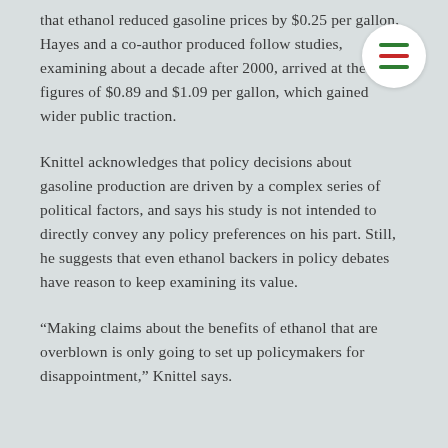that ethanol reduced gasoline prices by $0.25 per gallon, Hayes and a co-author produced follow studies, examining about a decade after 2000, arrived at the figures of $0.89 and $1.09 per gallon, which gained wider public traction.
Knittel acknowledges that policy decisions about gasoline production are driven by a complex series of political factors, and says his study is not intended to directly convey any policy preferences on his part. Still, he suggests that even ethanol backers in policy debates have reason to keep examining its value.
“Making claims about the benefits of ethanol that are overblown is only going to set up policymakers for disappointment,” Knittel says.
[Figure (other): Hamburger menu icon (three horizontal lines: green, red, green) inside a white circle, positioned in the upper right area of the page.]